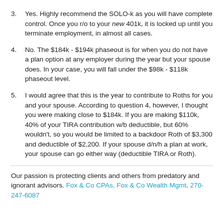3. Yes. Highly recommend the SOLO-k as you will have complete control. Once you r/o to your new 401k, it is locked up until you terminate employment, in almost all cases.
4. No. The $184k - $194k phaseout is for when you do not have a plan option at any employer during the year but your spouse does. In your case, you will fall under the $98k - $118k phaseout level.
5. I would agree that this is the year to contribute to Roths for you and your spouse. According to question 4, however, I thought you were making close to $184k. If you are making $110k, 40% of your TIRA contribution w/b deductible, but 60% wouldn't, so you would be limited to a backdoor Roth of $3,300 and deductible of $2,200. If your spouse d/n/h a plan at work, your spouse can go either way (deductible TIRA or Roth).
Our passion is protecting clients and others from predatory and ignorant advisors. Fox & Co CPAs, Fox & Co Wealth Mgmt. 270-247-6087